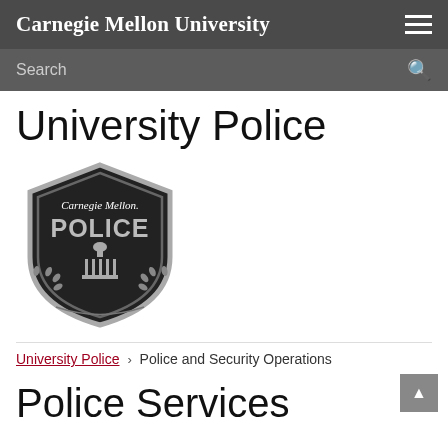Carnegie Mellon University
Search
University Police
[Figure (logo): Carnegie Mellon University Police badge/shield logo in black and gray. Shield shape with 'Carnegie Mellon.' at top, 'POLICE' in large letters, a building/column icon in center, and laurel branches at bottom.]
University Police › Police and Security Operations
Police Services